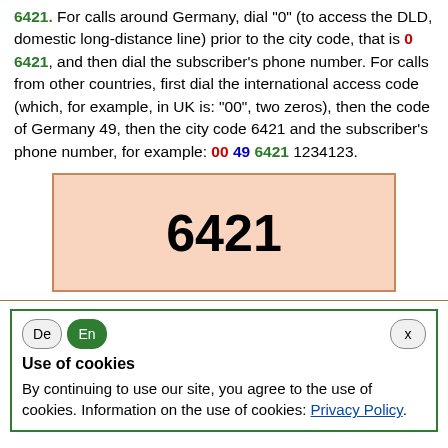6421. For calls around Germany, dial "0" (to access the DLD, domestic long-distance line) prior to the city code, that is 0 6421, and then dial the subscriber's phone number. For calls from other countries, first dial the international access code (which, for example, in UK is: "00", two zeros), then the code of Germany 49, then the city code 6421 and the subscriber's phone number, for example: 00 49 6421 1234123.
[Figure (other): A box with salmon/peach background and orange border displaying the city code '6421' in large bold text.]
Use of cookies
By continuing to use our site, you agree to the use of cookies. Information on the use of cookies: Privacy Policy.